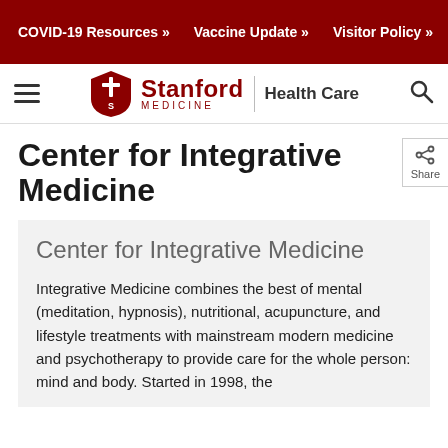COVID-19 Resources »   Vaccine Update »   Visitor Policy »
[Figure (logo): Stanford Medicine Health Care logo with shield emblem, hamburger menu icon, and search icon]
Center for Integrative Medicine
Center for Integrative Medicine
Integrative Medicine combines the best of mental (meditation, hypnosis), nutritional, acupuncture, and lifestyle treatments with mainstream modern medicine and psychotherapy to provide care for the whole person: mind and body. Started in 1998, the